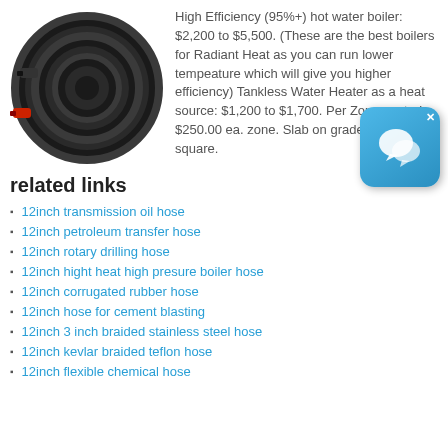[Figure (photo): Black rubber hose coiled in a circle with red and black fittings on the ends]
High Efficiency (95%+) hot water boiler: $2,200 to $5,500. (These are the best boilers for Radiant Heat as you can run lower tempeature which will give you higher efficiency) Tankless Water Heater as a heat source: $1,200 to $1,700. Per Zone controls: $250.00 ea. zone. Slab on grade Rad per square.
related links
12inch transmission oil hose
12inch petroleum transfer hose
12inch rotary drilling hose
12inch hight heat high presure boiler hose
12inch corrugated rubber hose
12inch hose for cement blasting
12inch 3 inch braided stainless steel hose
12inch kevlar braided teflon hose
12inch flexible chemical hose